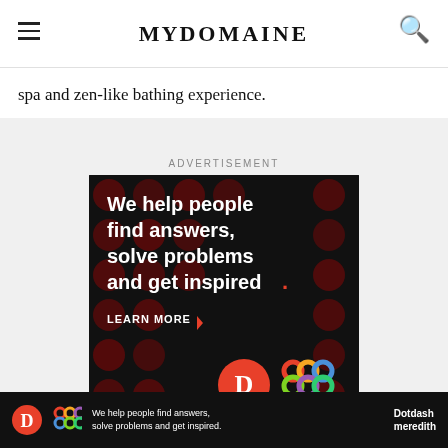MYDOMAINE
spa and zen-like bathing experience.
Advertisement
[Figure (illustration): Dark advertisement banner with red polka dot background pattern. White bold text reads: We help people find answers, solve problems and get inspired. with a red period. Below: LEARN MORE with arrow. Dotdash and Meredith logos at bottom right.]
[Figure (illustration): Bottom sticky ad bar: dark background with white text 'We help people find answers, solve problems and get inspired.' with Dotdash and Meredith logos.]